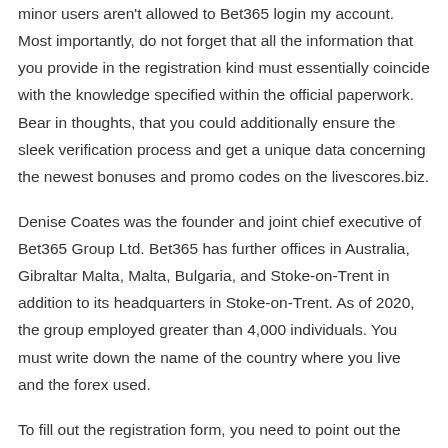minor users aren't allowed to Bet365 login my account. Most importantly, do not forget that all the information that you provide in the registration kind must essentially coincide with the knowledge specified within the official paperwork. Bear in thoughts, that you could additionally ensure the sleek verification process and get a unique data concerning the newest bonuses and promo codes on the livescores.biz.
Denise Coates was the founder and joint chief executive of Bet365 Group Ltd. Bet365 has further offices in Australia, Gibraltar Malta, Malta, Bulgaria, and Stoke-on-Trent in addition to its headquarters in Stoke-on-Trent. As of 2020, the group employed greater than 4,000 individuals. You must write down the name of the country where you live and the forex used.
To fill out the registration form, you need to point out the